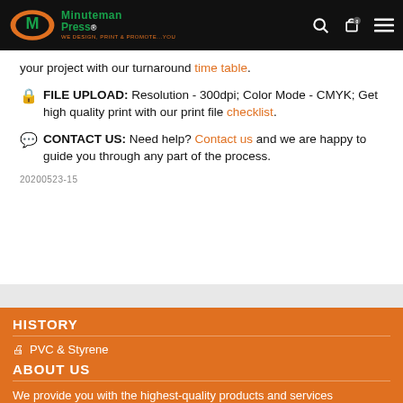Minuteman Press — WE DESIGN, PRINT & PROMOTE...YOU
your project with our turnaround time table.
FILE UPLOAD: Resolution - 300dpi; Color Mode - CMYK; Get high quality print with our print file checklist.
CONTACT US: Need help? Contact us and we are happy to guide you through any part of the process.
20200523-15
HISTORY
PVC & Styrene
ABOUT US
We provide you with the highest-quality products and services